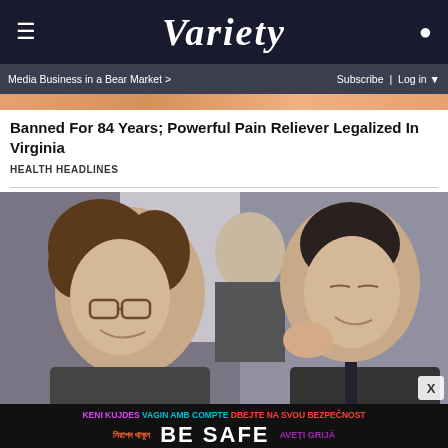VARIETY
Media Business in a Bear Market > | Subscribe | Log in
[Figure (photo): Top portion of an advertisement banner showing orange/peach gradient background]
Banned For 84 Years; Powerful Pain Reliever Legalized In Virginia
HEALTH HEADLINES
[Figure (photo): Movie still showing two men facing each other closely, one with curly hair and glasses on the left, one with dark slicked hair on the right, in a crowded scene. From what appears to be The Wolf of Wall Street.]
[Figure (infographic): Be Safe multilingual safety advertisement banner with text in multiple languages including English, Bengali, Catalan, Czech, Romanian, Norwegian, Dutch, Finnish, Estonian, Spanish. Main text reads BE SAFE in large white letters.]